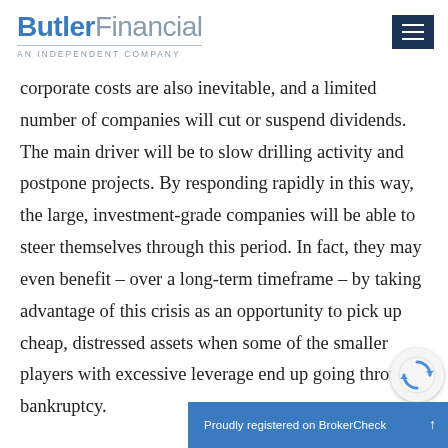Butler Financial — AN INDEPENDENT COMPANY
corporate costs are also inevitable, and a limited number of companies will cut or suspend dividends. The main driver will be to slow drilling activity and postpone projects. By responding rapidly in this way, the large, investment-grade companies will be able to steer themselves through this period. In fact, they may even benefit – over a long-term timeframe – by taking advantage of this crisis as an opportunity to pick up cheap, distressed assets when some of the smaller players with excessive leverage end up going through bankruptcy.
Proudly registered on BrokerCheck ↑